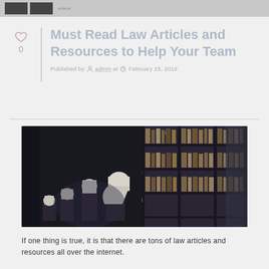Must Read Law Articles and Resources to Help Your Team
Published by admin at February 15, 2019
[Figure (photo): A dark library interior with white marble busts on pedestals and tall wooden bookshelves filled with old books, labeled with letters b, f, e, d on the shelves.]
If one thing is true, it is that there are tons of law articles and resources all over the internet.